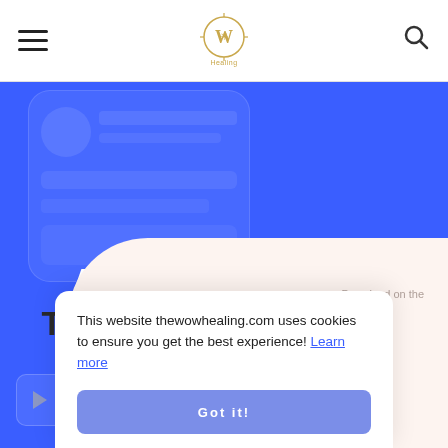The WOW Healing — navigation header with hamburger menu and search icon
[Figure (screenshot): Website screenshot showing The WOW Healing app promotional page with blue hero background, app mockup images, and cookie consent popup. Header has hamburger menu, WOW Healing logo, and search icon. Hero section shows 'AVAILABLE NOW The WOW Healing APP' text with Google Play and App Store download buttons. Cookie consent popup reads: 'This website thewowhealing.com uses cookies to ensure you get the best experience! Learn more' with a 'Got it!' button.]
AVAILABLE NOW
The WOW Healing APP
This website thewowhealing.com uses cookies to ensure you get the best experience! Learn more
Got it!